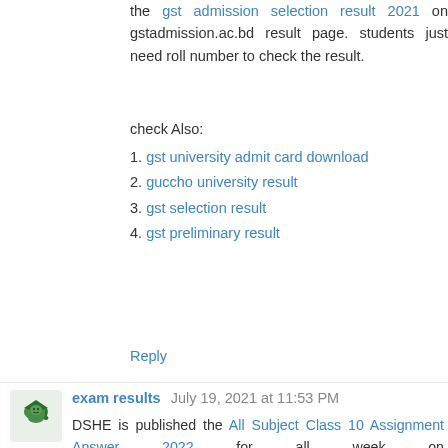the gst admission selection result 2021 on gstadmission.ac.bd result page. students just need roll number to check the result.
check Also:
1. gst university admit card download
2. guccho university result
3. gst selection result
4. gst preliminary result
Reply
exam results  July 19, 2021 at 11:53 PM
DSHE is published the All Subject Class 10 Assignment Answer 2022 for all week on assignment.examresulthub.com. Want to check the all assignment work and answer, make sure to follow the below subjectwise links:
DSHE is published the SSC Assignment Answer 2021 for Class 10 for three weeks. lets check the assignment work